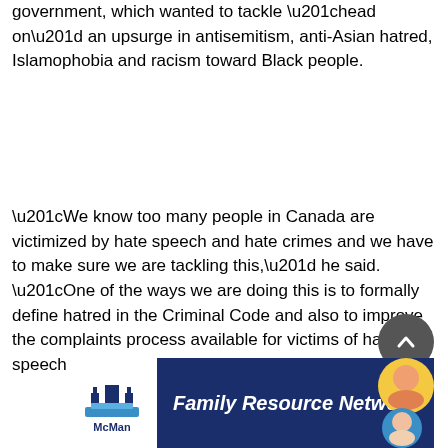government, which wanted to tackle “head on” an upsurge in antisemitism, anti-Asian hatred, Islamophobia and racism toward Black people.
“We know too many people in Canada are victimized by hate speech and hate crimes and we have to make sure we are tackling this,” he said. “One of the ways we are doing this is to formally define hatred in the Criminal Code and also to improve the complaints process available for victims of hate speech.”
[Figure (other): Scroll-to-top circular button with upward chevron arrow, dark grey background]
[Figure (other): McMan Family Resource Network advertisement banner with dark blue background, McMan logo on white left panel, italic bold white text reading Family Resource Network, and circular photo thumbnails of children on the right]